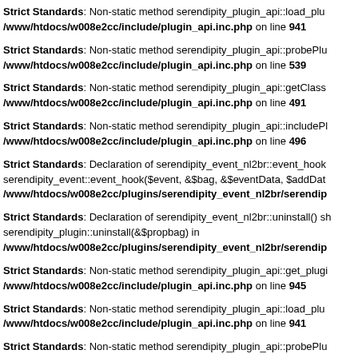Strict Standards: Non-static method serendipity_plugin_api::load_plu... /www/htdocs/w008e2cc/include/plugin_api.inc.php on line 941
Strict Standards: Non-static method serendipity_plugin_api::probePlu... /www/htdocs/w008e2cc/include/plugin_api.inc.php on line 539
Strict Standards: Non-static method serendipity_plugin_api::getClass... /www/htdocs/w008e2cc/include/plugin_api.inc.php on line 491
Strict Standards: Non-static method serendipity_plugin_api::includePl... /www/htdocs/w008e2cc/include/plugin_api.inc.php on line 496
Strict Standards: Declaration of serendipity_event_nl2br::event_hook... serendipity_event::event_hook($event, &$bag, &$eventData, $addDat... /www/htdocs/w008e2cc/plugins/serendipity_event_nl2br/serendip...
Strict Standards: Declaration of serendipity_event_nl2br::uninstall() sh... serendipity_plugin::uninstall(&$propbag) in /www/htdocs/w008e2cc/plugins/serendipity_event_nl2br/serendip...
Strict Standards: Non-static method serendipity_plugin_api::get_plugi... /www/htdocs/w008e2cc/include/plugin_api.inc.php on line 945
Strict Standards: Non-static method serendipity_plugin_api::load_plu... /www/htdocs/w008e2cc/include/plugin_api.inc.php on line 941
Strict Standards: Non-static method serendipity_plugin_api::probePlu... /www/htdocs/w008e2cc/include/plugin_api.inc.php on line 539